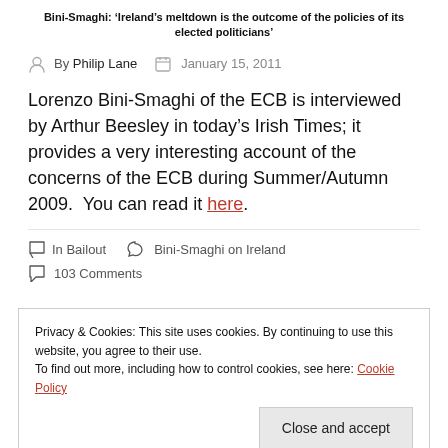Bini-Smaghi: ‘Ireland’s meltdown is the outcome of the policies of its elected politicians’
By Philip Lane   January 15, 2011
Lorenzo Bini-Smaghi of the ECB is interviewed by Arthur Beesley in today’s Irish Times; it provides a very interesting account of the concerns of the ECB during Summer/Autumn 2009.  You can read it here.
In Bailout   Bini-Smaghi on Ireland
103 Comments
Privacy & Cookies: This site uses cookies. By continuing to use this website, you agree to their use.
To find out more, including how to control cookies, see here: Cookie Policy
Close and accept
outcome of the policies of